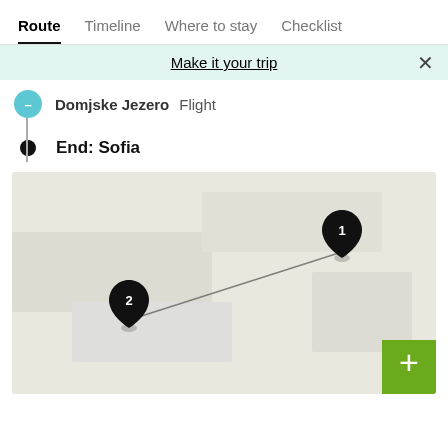Route  Timeline  Where to stay  Checklist
Make it your trip
Domjske Jezero  Flight
End: Sofia
[Figure (map): Map showing two location pins connected by a line. Pin 1 in upper right area, Pin 2 in lower left area. A green + button in bottom right corner.]